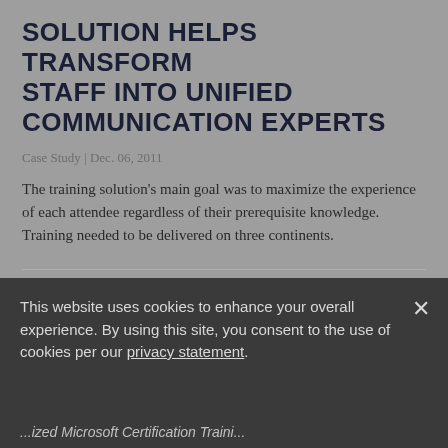SOLUTION HELPS TRANSFORM STAFF INTO UNIFIED COMMUNICATION EXPERTS
Case Study | Dec. 06, 2011
The training solution's main goal was to maximize the experience of each attendee regardless of their prerequisite knowledge. Training needed to be delivered on three continents.
CUSTOMIZED MICROSOFT CERTIFICATION TRAINING INCREASES HELP DESK EFFICIENCY
This website uses cookies to enhance your overall experience. By using this site, you consent to the use of cookies per our privacy statement.